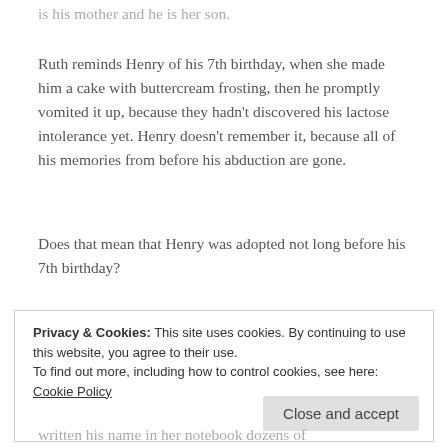is his mother and he is her son.
Ruth reminds Henry of his 7th birthday, when she made him a cake with buttercream frosting, then he promptly vomited it up, because they hadn't discovered his lactose intolerance yet. Henry doesn't remember it, because all of his memories from before his abduction are gone.
Does that mean that Henry was adopted not long before his 7th birthday?
Privacy & Cookies: This site uses cookies. By continuing to use this website, you agree to their use.
To find out more, including how to control cookies, see here: Cookie Policy
written his name in her notebook dozens of